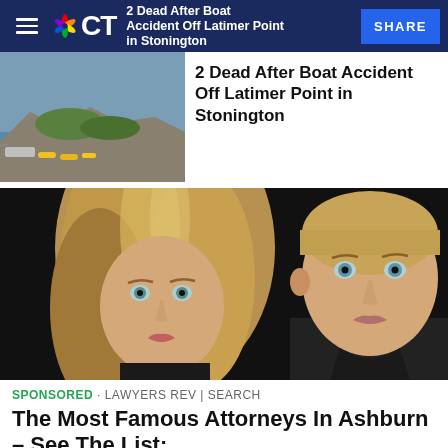CT · 2 Dead After Boat Accident Off Latimer Point in Stonington · SHARE
[Figure (photo): Thumbnail photo of a coastal area with boats and rocks]
2 Dead After Boat Accident Off Latimer Point in Stonington
[Figure (photo): Photo of a young woman with long blonde hair and a man with short hair, both looking at the camera]
SPONSORED · LAWYERS REV | SEARCH
The Most Famous Attorneys In Ashburn – See The List: